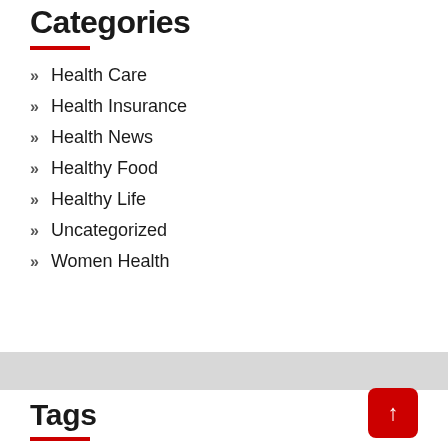Categories
Health Care
Health Insurance
Health News
Healthy Food
Healthy Life
Uncategorized
Women Health
Tags